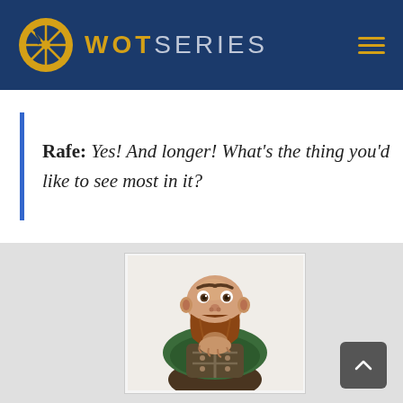WOT SERIES
Rafe: Yes! And longer! What's the thing you'd like to see most in it?
[Figure (illustration): Cartoon illustration of a stocky bald dwarf-like character with a red-brown beard, wearing medieval-fantasy leather and chain armor with a green cape, looking directly at the viewer with arms crossed.]